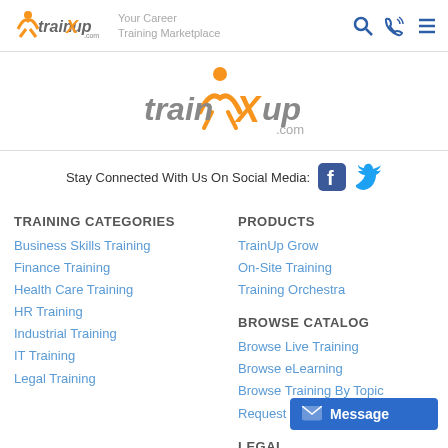trainXup.com — Your Career Training Marketplace
[Figure (logo): trainXup.com center logo with orange figure and gray text]
Stay Connected With Us On Social Media: [Facebook icon] [Twitter icon]
TRAINING CATEGORIES
Business Skills Training
Finance Training
Health Care Training
HR Training
Industrial Training
IT Training
Legal Training
PRODUCTS
TrainUp Grow
On-Site Training
Training Orchestra
BROWSE CATALOG
Browse Live Training
Browse eLearning
Browse Training By Topic
Request On-Site Training
ACCOUNT
LEGAL